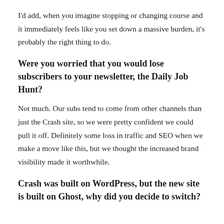I'd add, when you imagine stopping or changing course and it immediately feels like you set down a massive burden, it's probably the right thing to do.
Were you worried that you would lose subscribers to your newsletter, the Daily Job Hunt?
Not much. Our subs tend to come from other channels than just the Crash site, so we were pretty confident we could pull it off. Definitely some loss in traffic and SEO when we make a move like this, but we thought the increased brand visibility made it worthwhile.
Crash was built on WordPress, but the new site is built on Ghost, why did you decide to switch?